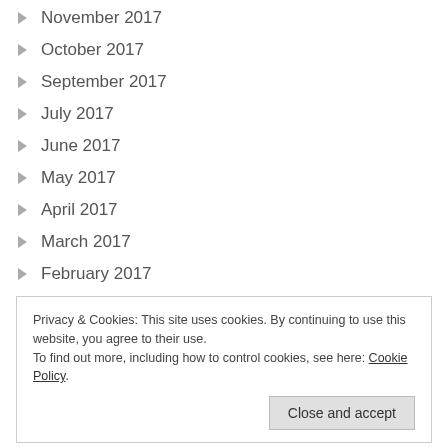November 2017
October 2017
September 2017
July 2017
June 2017
May 2017
April 2017
March 2017
February 2017
Privacy & Cookies: This site uses cookies. By continuing to use this website, you agree to their use. To find out more, including how to control cookies, see here: Cookie Policy
AoLE Digital Competence